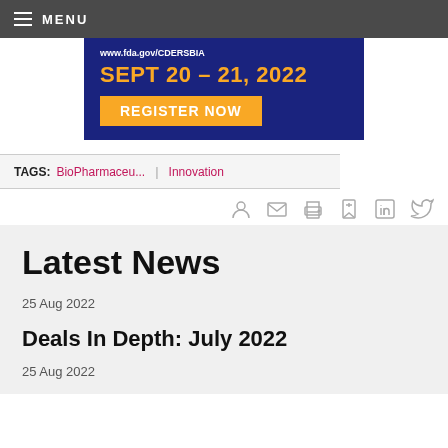MENU
[Figure (screenshot): FDA CDER Small Business and Industry Assistance banner with URL www.fda.gov/CDERSBIA, date SEPT 20 - 21, 2022, and REGISTER NOW button]
TAGS: BioPharmaceu... | Innovation
Latest News
25 Aug 2022
Deals In Depth: July 2022
25 Aug 2022